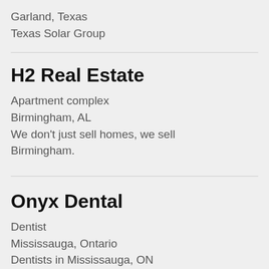Garland, Texas
Texas Solar Group
H2 Real Estate
Apartment complex
Birmingham, AL
We don't just sell homes, we sell Birmingham.
Onyx Dental
Dentist
Mississauga, Ontario
Dentists in Mississauga, ON